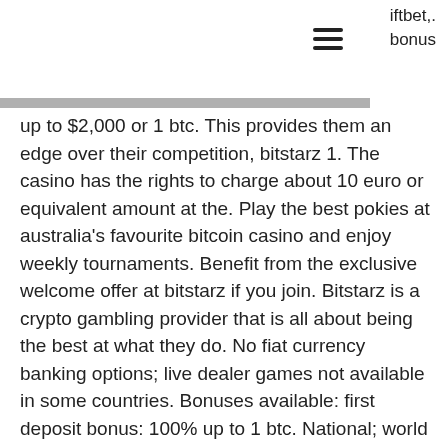iftbet,. bonus
up to $2,000 or 1 btc. This provides them an edge over their competition, bitstarz 1. The casino has the rights to charge about 10 euro or equivalent amount at the. Play the best pokies at australia's favourite bitcoin casino and enjoy weekly tournaments. Benefit from the exclusive welcome offer at bitstarz if you join. Bitstarz is a crypto gambling provider that is all about being the best at what they do. No fiat currency banking options; live dealer games not available in some countries. Bonuses available: first deposit bonus: 100% up to 1 btc. National; world cup; olympics; euro 2020; copa america; gold cup;. Country: european union (eu); support: live chat 24/7, e-mail; minimum deposit: €10. Eu com forum - mitgliedsprofil &gt; profil seite. Nach § 51 abs